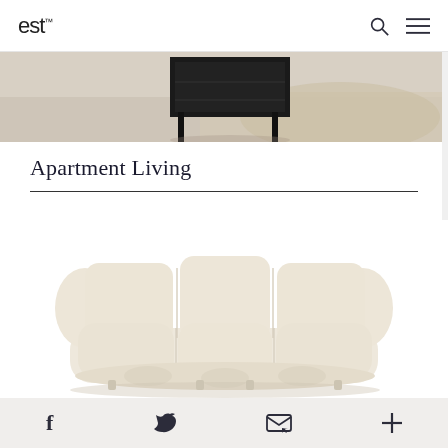est™
[Figure (photo): Partial view of dark furniture piece, likely a shelving unit or cabinet, with black metal legs on a concrete floor in a studio/gallery space]
Apartment Living
[Figure (photo): A cream/off-white three-seater sofa with plump cushions and rounded forms, shown on white background]
Social share icons: Facebook, Twitter, Email, More